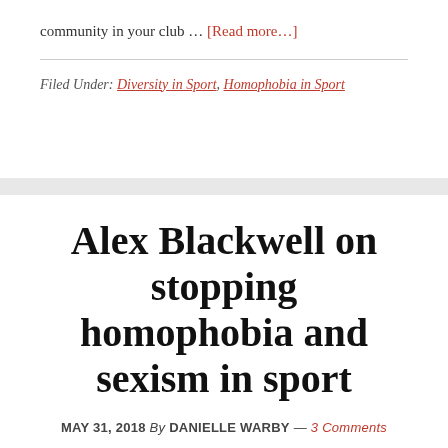community in your club … [Read more…]
Filed Under: Diversity in Sport, Homophobia in Sport
Alex Blackwell on stopping homophobia and sexism in sport
MAY 31, 2018 By DANIELLE WARBY — 3 Comments